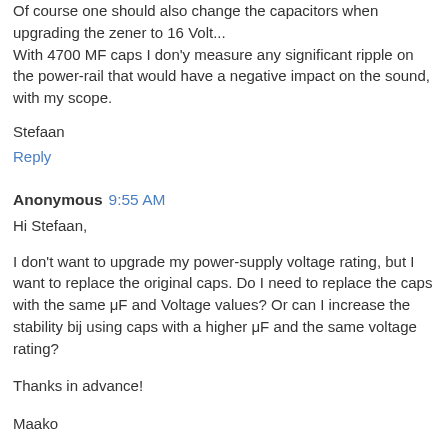Of course one should also change the capacitors when upgrading the zener to 16 Volt...
With 4700 MF caps I don'y measure any significant ripple on the power-rail that would have a negative impact on the sound, with my scope.
Stefaan
Reply
Anonymous 9:55 AM
Hi Stefaan,
I don't want to upgrade my power-supply voltage rating, but I want to replace the original caps. Do I need to replace the caps with the same μF and Voltage values? Or can I increase the stability bij using caps with a higher μF and the same voltage rating?
Thanks in advance!
Maako